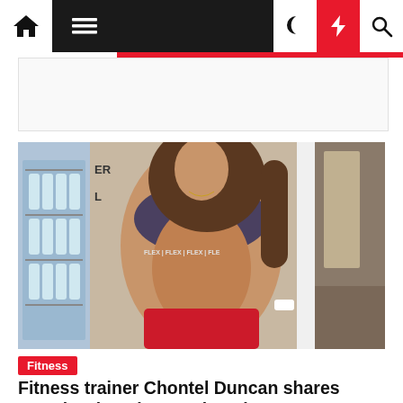Navigation bar with home, menu, dark mode, flash, and search icons
[Figure (photo): Fitness trainer Chontel Duncan posing in a gym setting, wearing a dark sports bra with FLEX branding and red shorts, showing muscular physique, with a refrigerator of water bottles in the background]
Fitness
Fitness trainer Chontel Duncan shares exactly what she eats in a day